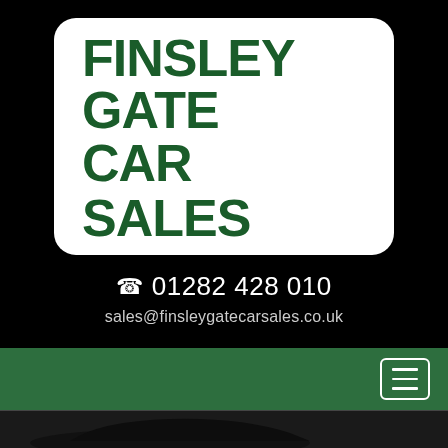[Figure (logo): Finsley Gate Car Sales logo — white rounded rectangle with green bold text reading FINSLEY GATE on top line and CAR SALES on second line]
☎ 01282 428 010
sales@finsleygatecarsales.co.uk
[Figure (other): Green navigation bar with hamburger menu button (white border, three horizontal white lines) on the right side]
[Figure (photo): Partial view of a dark-coloured car roof/windscreen area against dark background]
2014 (64) VOLVO V40 1.6 D2 CROSS COUNTRY LUX NAV 5DR